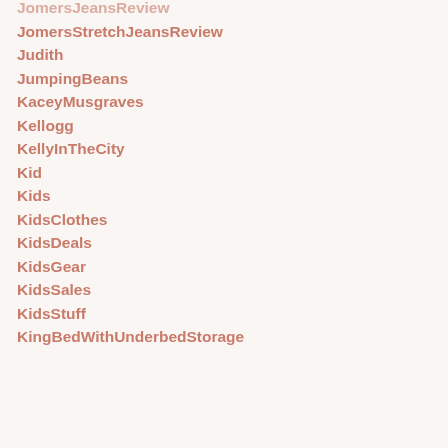JomersJeansReview
JomersStretchJeansReview
Judith
JumpingBeans
KaceyMusgraves
Kellogg
KellyInTheCity
Kid
Kids
KidsClothes
KidsDeals
KidsGear
KidsSales
KidsStuff
KingBedWithUnderbedStorage